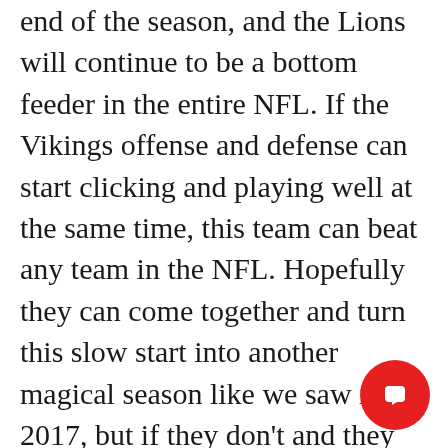end of the season, and the Lions will continue to be a bottom feeder in the entire NFL. If the Vikings offense and defense can start clicking and playing well at the same time, this team can beat any team in the NFL. Hopefully they can come together and turn this slow start into another magical season like we saw in 2017, but if they don't and they continue to lose winnable games, we are going to see a lot of changes going into next season. No matter how this season goes, I don't believe this team needs to go through a full rebuild. This Vikings team does have a lot of talent, but changes in leadership and a few key tweaks could have this team on another level. Go Vikings!!!
[Figure (other): Red circular chat/message button icon in the bottom-right corner]